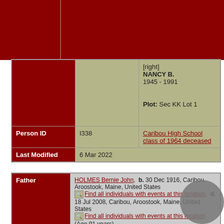[Figure (other): Red banner header area with vertical line divider]
|  |  | [right]
NANCY B.
1945 - 1991

Plot: Sec KK Lot 1 |
| Person ID | I338 | Caribou High School class of 1964 deceased |
| Last Modified | 6 Mar 2022 |  |
| Father | HOLMES Bernie John,  b. 30 Dec 1916, Caribou, Aroostook, Maine, United States  [Find all individuals with events at this location],  d. 18 Jul 2008, Caribou, Aroostook, Maine, United States [Find all individuals with events at this location]  (Age 91 years) |
| Mother | COTE Alma,  b. 15 Jul 1912, Caribou, Aroostook, Maine, United States [Find all individuals with events at this location], 15 Nov 2004, Caribou, Aroostook, Maine, United States [Find all individuals with events at this location]  (Age |